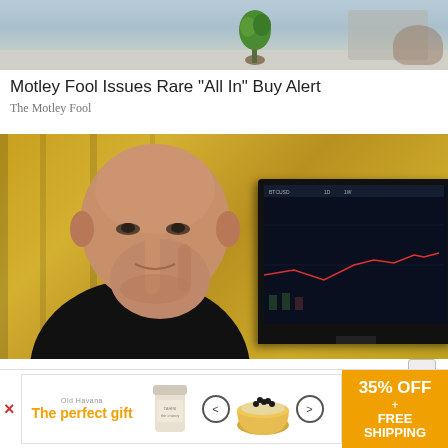[Figure (photo): Top portion of an article thumbnail showing a desk scene with plants and office background]
Motley Fool Issues Rare "All In" Buy Alert
The Motley Fool
[Figure (photo): A bald man in a black shirt resting his hand/finger on his nose/face, with a computer monitor showing trading charts visible in the background, yellow curtains behind him]
Crypto Shark Explains His 6 Minute System Angering Crypto Millionaires
6 Minute System
[Figure (infographic): Advertisement banner: 'The perfect gift' with food product carousel showing a bowl with berries/toppings, navigation arrows, and '35% OFF + FREE SHIPPING' offer on orange background]